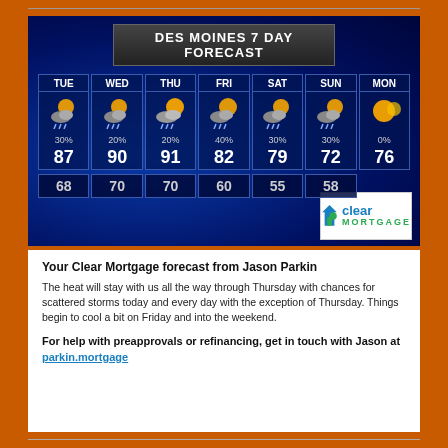[Figure (infographic): Des Moines 7 Day Weather Forecast graphic showing TUE through MON with temperatures and precipitation chances. High temps: TUE 87/68, WED 90/70, THU 91/70, FRI 82/60, SAT 79/55, SUN 72/58, MON 76/-. Precipitation: TUE 30%, WED 20%, THU 20%, FRI 40%, SAT 30%, SUN 30%, MON 0%.]
Your Clear Mortgage forecast from Jason Parkin
The heat will stay with us all the way through Thursday with chances for scattered storms today and every day with the exception of Thursday. Things begin to cool a bit on Friday and into the weekend.
For help with preapprovals or refinancing, get in touch with Jason at parkin.mortgage